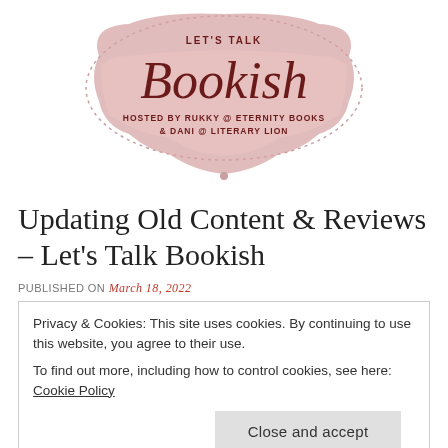[Figure (logo): Let's Talk Bookish logo — a decorative pink cloud/speech-bubble shape with dotted border, script 'Bookish' text, and subtitle 'HOSTED BY RUKKY @ ETERNITY BOOKS & DANI @ LITERARY LION']
Updating Old Content & Reviews – Let's Talk Bookish
PUBLISHED ON March 18, 2022
Privacy & Cookies: This site uses cookies. By continuing to use this website, you agree to their use.
To find out more, including how to control cookies, see here: Cookie Policy
Close and accept